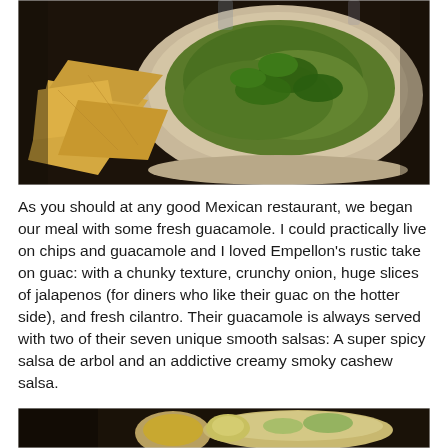[Figure (photo): A bowl of chunky guacamole with large jalapeño slices and cilantro, served alongside tortilla chips on a dark tray]
As you should at any good Mexican restaurant, we began our meal with some fresh guacamole. I could practically live on chips and guacamole and I loved Empellon's rustic take on guac: with a chunky texture, crunchy onion, huge slices of jalapenos (for diners who like their guac on the hotter side), and fresh cilantro. Their guacamole is always served with two of their seven unique smooth salsas: A super spicy salsa de arbol and an addictive creamy smoky cashew salsa.
[Figure (photo): Partial view of what appears to be small bowls of salsa or condiments on a dark surface]